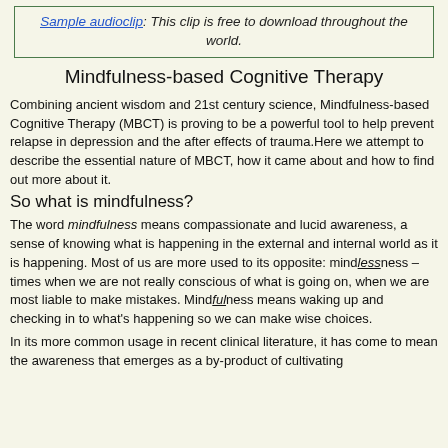Sample audioclip: This clip is free to download throughout the world.
Mindfulness-based Cognitive Therapy
Combining ancient wisdom and 21st century science, Mindfulness-based Cognitive Therapy (MBCT) is proving to be a powerful tool to help prevent relapse in depression and the after effects of trauma.Here we attempt to describe the essential nature of MBCT, how it came about and how to find out more about it.
So what is mindfulness?
The word mindfulness means compassionate and lucid awareness, a sense of knowing what is happening in the external and internal world as it is happening. Most of us are more used to its opposite: mindlessness – times when we are not really conscious of what is going on, when we are most liable to make mistakes. Mindfulness means waking up and checking in to what's happening so we can make wise choices.
In its more common usage in recent clinical literature, it has come to mean the awareness that emerges as a by-product of cultivating